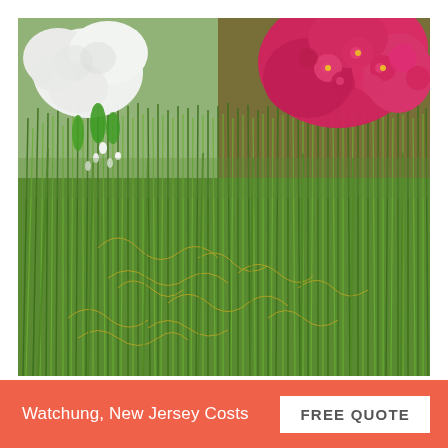[Figure (photo): Close-up photo of fresh cut flower stems and grass stalks with white flowers (roses/freesia) and bright pink/magenta flowers (carnations/wax flowers) in the upper portion, with tall green grass stems filling the lower portion of the image. Yellow dried tendrils visible among the green grass stems.]
Watchung, New Jersey Costs
FREE QUOTE